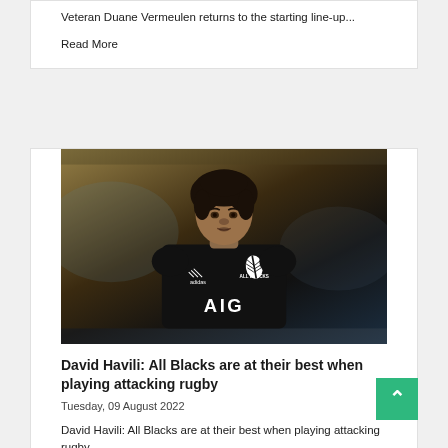Veteran Duane Vermeulen returns to the starting line-up...
Read More
[Figure (photo): David Havili in All Blacks jersey (black, with adidas logo, All Blacks fern badge, and AIG sponsor text), waist-up portrait, blurred stadium background]
David Havili: All Blacks are at their best when playing attacking rugby
Tuesday, 09 August 2022
David Havili: All Blacks are at their best when playing attacking rugby
Read More